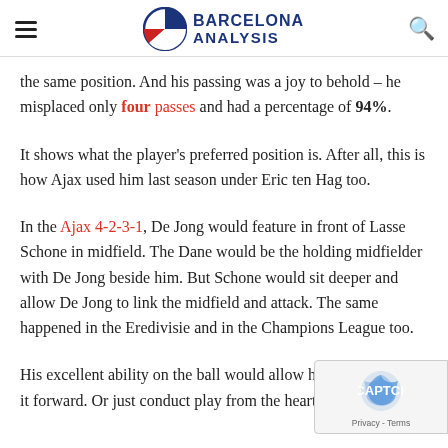Barcelona Analysis
the same position. And his passing was a joy to behold – he misplaced only four passes and had a percentage of 94%.
It shows what the player's preferred position is. After all, this is how Ajax used him last season under Eric ten Hag too.
In the Ajax 4-2-3-1, De Jong would feature in front of Lasse Schone in midfield. The Dane would be the holding midfielder with De Jong beside him. But Schone would sit deeper and allow De Jong to link the midfield and attack. The same happened in the Eredivisie and in the Champions League too.
His excellent ability on the ball would allow him to often carry it forward. Or just conduct play from the heart of the pi…